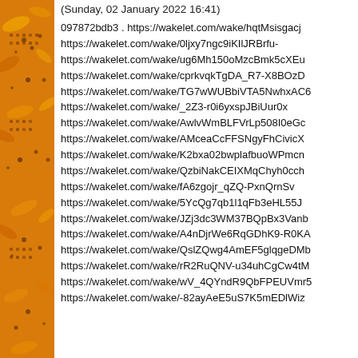[Figure (photo): Sunflower image along the left edge of the page]
(Sunday, 02 January 2022 16:41)
097872bdb3 . https://wakelet.com/wake/hqtMsisgacje https://wakelet.com/wake/0ljxy7ngc9iKIlJRBrfu- https://wakelet.com/wake/ug6Mh150oMzcBmk5cXEu https://wakelet.com/wake/cprkvqkTgDA_R7-X8BOzD https://wakelet.com/wake/TG7wWUBbiVTA5NwhxAC6 https://wakelet.com/wake/_2Z3-r0i6yxspJBiUur0x https://wakelet.com/wake/AwlvWmBLFVrLp508I0eGc https://wakelet.com/wake/AMceaCcFFSNgyFhCivicX https://wakelet.com/wake/K2bxa02bwplafbuoWPmcn https://wakelet.com/wake/QzbiNakCEIXMqChyh0cch https://wakelet.com/wake/fA6zgojr_qZQ-PxnQrnSv https://wakelet.com/wake/5YcQg7qb1l1qFb3eHL55J https://wakelet.com/wake/JZj3dc3WM37BQpBx3Vanb https://wakelet.com/wake/A4nDjrWe6RqGDhK9-R0KA https://wakelet.com/wake/QslZQwg4AmEF5glqgeDMb https://wakelet.com/wake/rR2RuQNV-u34uhCgCw4tM https://wakelet.com/wake/wV_4QYndR9QbFPEUVmr5 https://wakelet.com/wake/-82ayAeE5uS7K5mEDlWiz